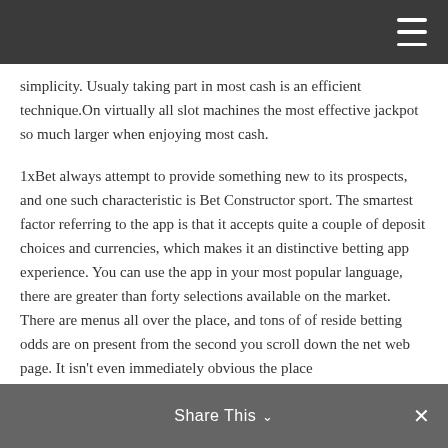simplicity. Usualy taking part in most cash is an efficient technique.On virtually all slot machines the most effective jackpot so much larger when enjoying most cash.
1xBet always attempt to provide something new to its prospects, and one such characteristic is Bet Constructor sport. The smartest factor referring to the app is that it accepts quite a couple of deposit choices and currencies, which makes it an distinctive betting app experience. You can use the app in your most popular language, there are greater than forty selections available on the market. There are menus all over the place, and tons of of reside betting odds are on present from the second you scroll down the net web page. It isn't even immediately obvious the place
Share This